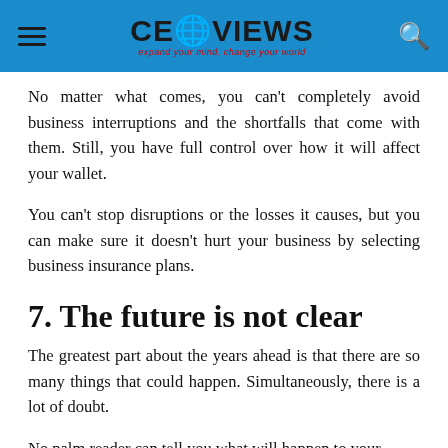CEO VIEWS — expand your mind. change your world.
No matter what comes, you can't completely avoid business interruptions and the shortfalls that come with them. Still, you have full control over how it will affect your wallet.
You can't stop disruptions or the losses it causes, but you can make sure it doesn't hurt your business by selecting business insurance plans.
7. The future is not clear
The greatest part about the years ahead is that there are so many things that could happen. Simultaneously, there is a lot of doubt.
No palm reader can tell you what will happen to your